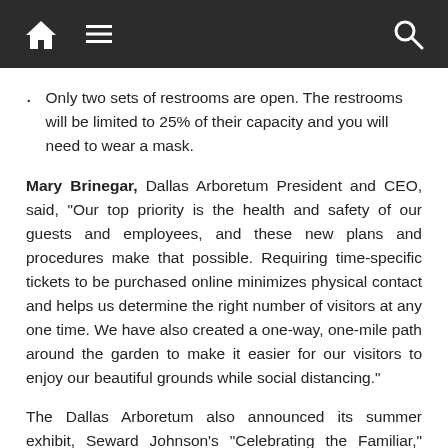[Navigation bar with home, menu, and search icons]
Only two sets of restrooms are open. The restrooms will be limited to 25% of their capacity and you will need to wear a mask.
Mary Brinegar, Dallas Arboretum President and CEO, said, “Our top priority is the health and safety of our guests and employees, and these new plans and procedures make that possible. Requiring time-specific tickets to be purchased online minimizes physical contact and helps us determine the right number of visitors at any one time. We have also created a one-way, one-mile path around the garden to make it easier for our visitors to enjoy our beautiful grounds while social distancing.”
The Dallas Arboretum also announced its summer exhibit, Seward Johnson’s “Celebrating the Familiar,” supported in part by the Dallas Tourism Public Improvement District, a collection of 20 life-size cast bronze figures, which will be